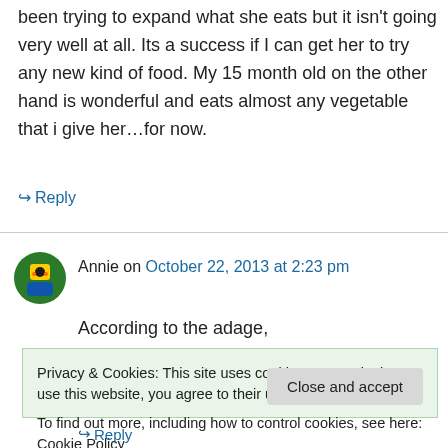been trying to expand what she eats but it isn't going very well at all. Its a success if I can get her to try any new kind of food. My 15 month old on the other hand is wonderful and eats almost any vegetable that i give her…for now.
↳ Reply
Annie on October 22, 2013 at 2:23 pm
According to the adage,
Privacy & Cookies: This site uses cookies. By continuing to use this website, you agree to their use.
To find out more, including how to control cookies, see here: Cookie Policy
Close and accept
↳ Reply